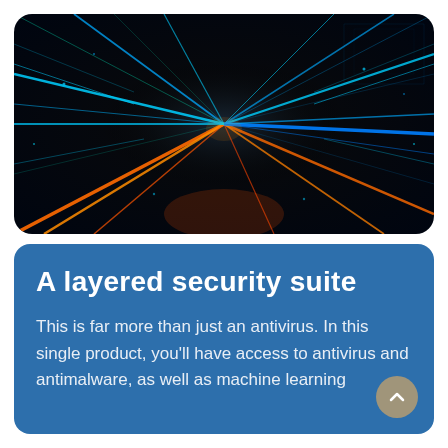[Figure (photo): Dark digital cyberpunk tunnel with glowing orange and cyan light streaks radiating from a central vanishing point, with grid-like structures and binary data patterns on the walls]
A layered security suite
This is far more than just an antivirus. In this single product, you'll have access to antivirus and antimalware, as well as machine learning